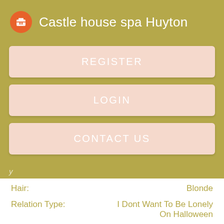Castle house spa Huyton
REGISTER
LOGIN
CONTACT US
Hair:   Blonde
Relation Type:   I Dont Want To Be Lonely On Halloween
Views: 7443